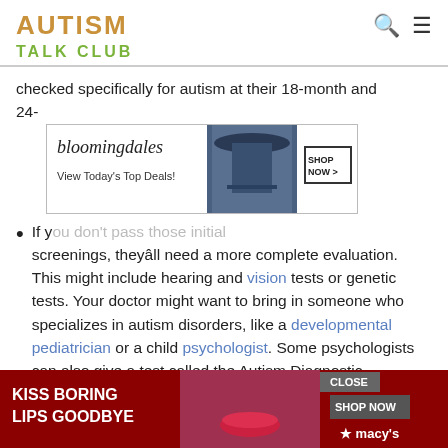AUTISM TALK CLUB
checked specifically for autism at their 18-month and 24-
[Figure (screenshot): Bloomingdale's advertisement banner showing logo, 'View Today's Top Deals!' text, a woman in a hat, and 'SHOP NOW >' button]
If your child doesn't pass those initial screenings, they'll need a more complete evaluation. This might include hearing and vision tests or genetic tests. Your doctor might want to bring in someone who specializes in autism disorders, like a developmental pediatrician or a child psychologist. Some psychologists can also give a test called the Autism Diagnostic Observation Schedule .
If you weren't diagnosed with autism as a child but notice yourself showing signs or symptoms, talk to your doctor.
[Figure (screenshot): Macy's advertisement banner with 'CLOSE' button, 'KISS BORING LIPS GOODBYE' text, woman's face with red lips, 'SHOP NOW' button and Macy's star logo]